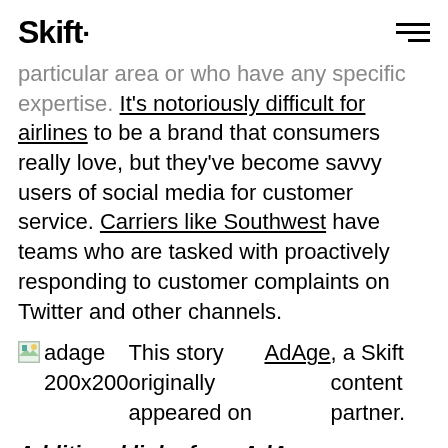Skift
particular area or who have any specific expertise. It's notoriously difficult for airlines to be a brand that consumers really love, but they've become savvy users of social media for customer service. Carriers like Southwest have teams who are tasked with proactively responding to customer complaints on Twitter and other channels.
This story originally appeared on AdAge, a Skift content partner.
Additional links from AdAge:
Chinese Don't Trust Food Made In China Either. Seek Baby Formula From Abroad